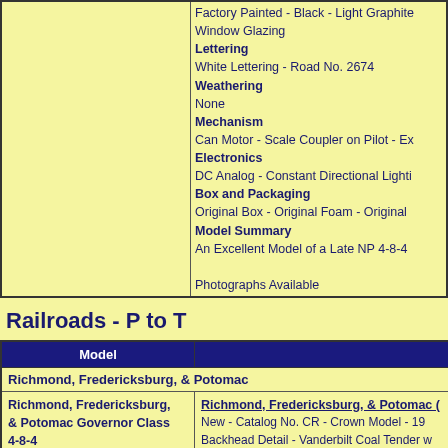| (image) | Details |
| --- | --- |
|  | Factory Painted - Black - Light Graphite
Window Glazing
Lettering
White Lettering - Road No. 2674
Weathering
None
Mechanism
Can Motor - Scale Coupler on Pilot - Ex
Electronics
DC Analog - Constant Directional Lighti
Box and Packaging
Original Box - Original Foam - Original
Model Summary
An Excellent Model of a Late NP 4-8-4

Photographs Available |
Railroads - P to T
| Model |  |
| --- | --- |
| Richmond, Fredericksburg, & Potomac |  |
| Richmond, Fredericksburg, & Potomac Governor Class 4-8-4

Pacific Fast Mail
Crown Model | Richmond, Fredericksburg, & Potomac (
New - Catalog No. CR - Crown Model - 19
Backhead Detail - Vanderbilt Coal Tender w
Unpainted - No Tarnish - Correct PFM Dec
Open Frame Motor - Test Run
Original Box - Partial Original Foam - Par |